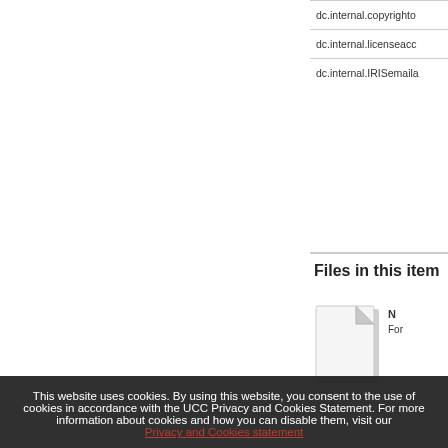| dc.internal.copyrighto |
| dc.internal.licenseacc |
| dc.internal.IRISemaila |
Files in this item
[Figure (illustration): Generic file/document icon — white folded-corner page thumbnail]
N
For
This item appears i
Chemistry - Journal
Tyndall National Ins
This website uses cookies. By using this website, you consent to the use of cookies in accordance with the UCC Privacy and Cookies Statement. For more information about cookies and how you can disable them, visit our Privacy and Cookies statement